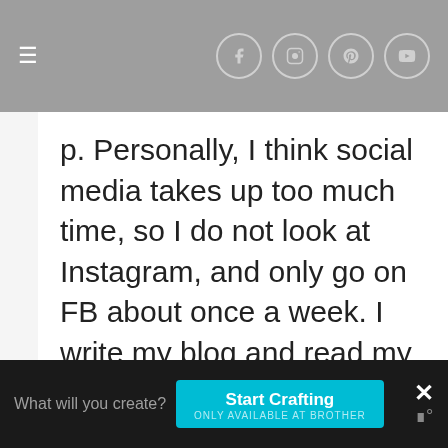≡ [hamburger menu] | [social icons: facebook, instagram, pinterest, youtube]
p. Personally, I think social media takes up too much time, so I do not look at Instagram, and only go on FB about once a week. I write my blog and read my favorites, then I do other things. Blogs give more of a story than just a hit and run photo, and I prefer to have a bit more to read. If you have Netflix, see the documentary called The Social Dil...
What will you create?  Start Crafting  ONLY AVAILABLE AT BROTHER  ×